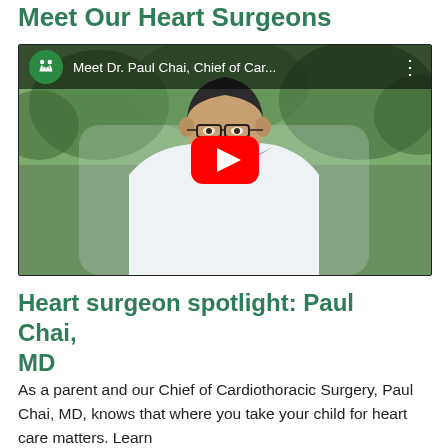Meet Our Heart Surgeons
[Figure (screenshot): YouTube video thumbnail showing Dr. Paul Chai, Chief of Cardiothoracic Surgery, wearing a white coat outdoors with greenery in background. YouTube player UI with channel logo, video title 'Meet Dr. Paul Chai, Chief of Car…', three-dots menu, and large red play button overlay.]
Heart surgeon spotlight: Paul Chai, MD
As a parent and our Chief of Cardiothoracic Surgery, Paul Chai, MD, knows that where you take your child for heart care matters. Learn